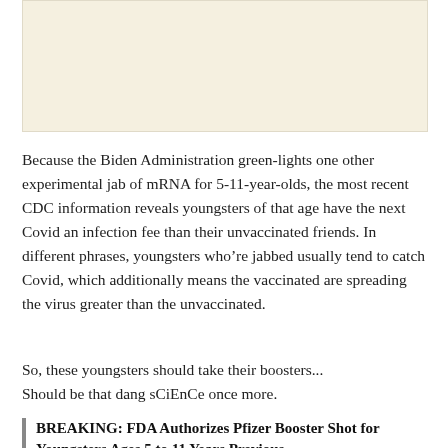[Figure (other): Advertisement placeholder box with light beige/cream background]
Because the Biden Administration green-lights one other experimental jab of mRNA for 5-11-year-olds, the most recent CDC information reveals youngsters of that age have the next Covid an infection fee than their unvaccinated friends. In different phrases, youngsters who’re jabbed usually tend to catch Covid, which additionally means the vaccinated are spreading the virus greater than the unvaccinated.
So, these youngsters should take their boosters... Should be that dang sCiEnCe once more.
BREAKING: FDA Authorizes Pfizer Booster Shot for Youngsters Ages 5 to 11 Years Previous